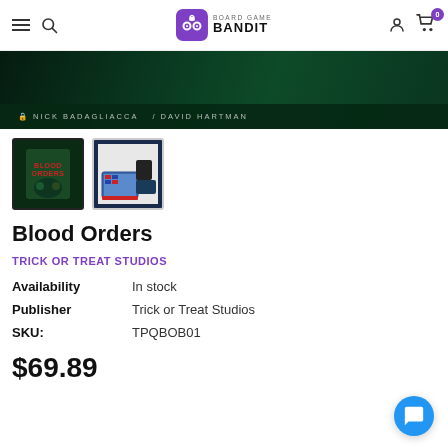Board Game Bandit — navigation header with logo, search, user, and cart icons
[Figure (photo): Product image of Blood Orders board game box showing dark green background with authors Nick Badagliacca and David Hartman on spine]
[Figure (photo): Thumbnail 1: Blood Orders board game box cover with dark green horror art]
[Figure (photo): Thumbnail 2: Blood Orders board game components spread out showing game board and pieces]
Blood Orders
TRICK OR TREAT STUDIOS
Availability   In stock
Publisher   Trick or Treat Studios
SKU:   TPQBOB01
$69.89